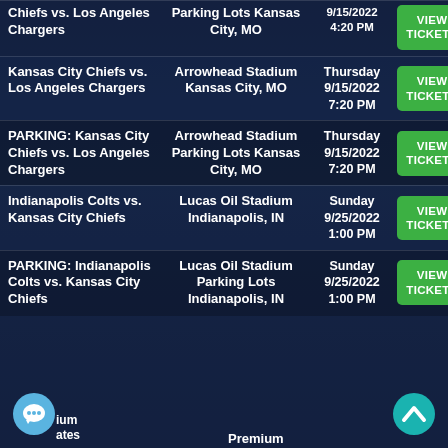| Event | Venue | Date | Action |
| --- | --- | --- | --- |
| Chiefs vs. Los Angeles Chargers | Parking Lots Kansas City, MO | 9/15/2022 4:20 PM | VIEW TICKETS |
| Kansas City Chiefs vs. Los Angeles Chargers | Arrowhead Stadium Kansas City, MO | Thursday 9/15/2022 7:20 PM | VIEW TICKETS |
| PARKING: Kansas City Chiefs vs. Los Angeles Chargers | Arrowhead Stadium Parking Lots Kansas City, MO | Thursday 9/15/2022 7:20 PM | VIEW TICKETS |
| Indianapolis Colts vs. Kansas City Chiefs | Lucas Oil Stadium Indianapolis, IN | Sunday 9/25/2022 1:00 PM | VIEW TICKETS |
| PARKING: Indianapolis Colts vs. Kansas City Chiefs | Lucas Oil Stadium Parking Lots Indianapolis, IN | Sunday 9/25/2022 1:00 PM | VIEW TICKETS |